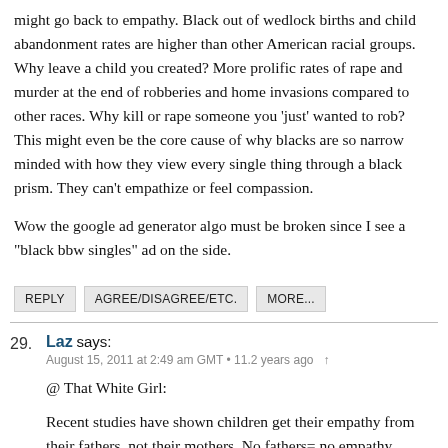might go back to empathy. Black out of wedlock births and child abandonment rates are higher than other American racial groups. Why leave a child you created? More prolific rates of rape and murder at the end of robberies and home invasions compared to other races. Why kill or rape someone you 'just' wanted to rob? This might even be the core cause of why blacks are so narrow minded with how they view every single thing through a black prism. They can't empathize or feel compassion.
Wow the google ad generator algo must be broken since I see a "black bbw singles" ad on the side.
REPLY   AGREE/DISAGREE/ETC.   MORE...
29. Laz says:
August 15, 2011 at 2:49 am GMT • 11.2 years ago
@ That White Girl:
Recent studies have shown children get their empathy from their fathers, not their mothers. No fathers= no empathy